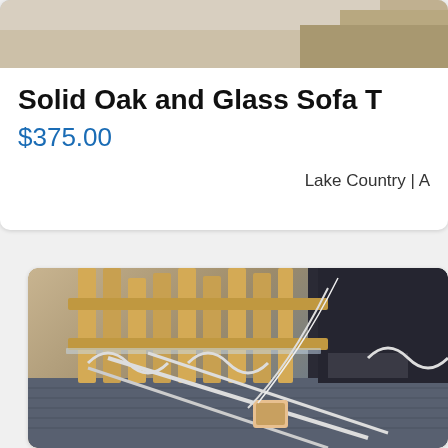[Figure (photo): Top portion of a product photo showing a wooden floor or furniture surface — cropped listing image]
Solid Oak and Glass Sofa T
$375.00
Lake Country | A
[Figure (photo): Photo of a solid oak and glass sofa table with white wrought iron details, viewed from above at an angle, sitting on a grey composite deck. A small decorative item is visible on the deck.]